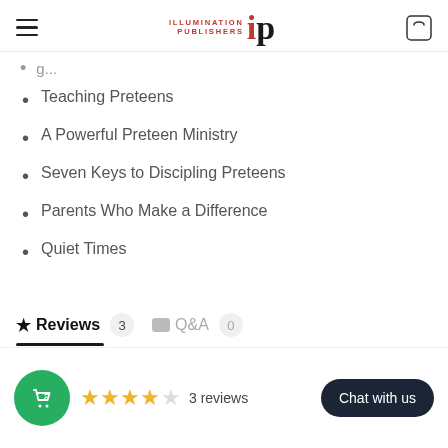Illumination Publishers IP
Teaching Preteens
A Powerful Preteen Ministry
Seven Keys to Discipling Preteens
Parents Who Make a Difference
Quiet Times
Reviews 3   Q&A 0
3 reviews